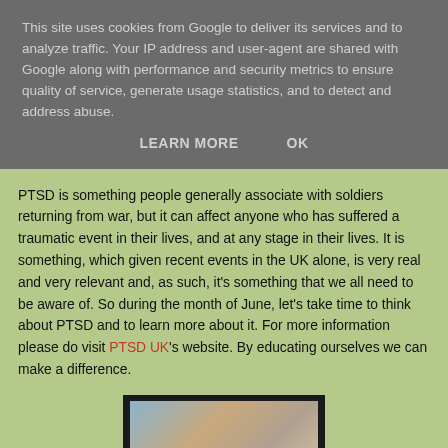This site uses cookies from Google to deliver its services and to analyze traffic. Your IP address and user-agent are shared with Google along with performance and security metrics to ensure quality of service, generate usage statistics, and to detect and address abuse.
LEARN MORE   OK
PTSD is something people generally associate with soldiers returning from war, but it can affect anyone who has suffered a traumatic event in their lives, and at any stage in their lives. It is something, which given recent events in the UK alone, is very real and very relevant and, as such, it's something that we all need to be aware of. So during the month of June, let's take time to think about PTSD and to learn more about it. For more information please do visit PTSD UK's website. By educating ourselves we can make a difference.
[Figure (photo): A partially visible photograph showing what appears to be a person, cropped at the bottom of the page.]